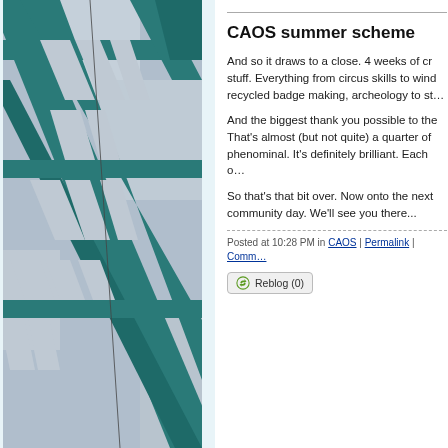[Figure (photo): Close-up photograph of teal/green colored steel bridge or structural framework with diagonal and lattice metal beams against a grey sky background.]
CAOS summer scheme
And so it draws to a close. 4 weeks of cr... stuff. Everything from circus skills to wind... recycled badge making, archeology to st...
And the biggest thank you possible to the... That's almost (but not quite) a quarter of... phenominal. It's definitely brilliant. Each o...
So that's that bit over. Now onto the next... community day. We'll see you there...
Posted at 10:28 PM in CAOS | Permalink | Comm...
Reblog (0)